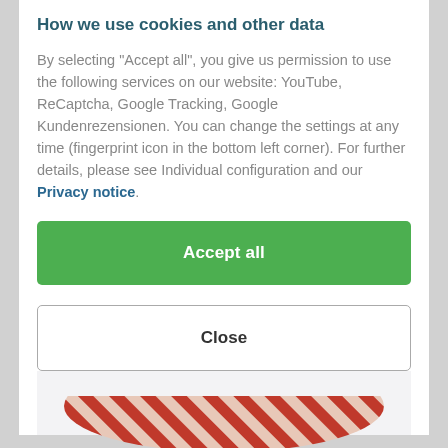How we use cookies and other data
By selecting "Accept all", you give us permission to use the following services on our website: YouTube, ReCaptcha, Google Tracking, Google Kundenrezensionen. You can change the settings at any time (fingerprint icon in the bottom left corner). For further details, please see Individual configuration and our Privacy notice.
[Figure (screenshot): Green 'Accept all' button]
[Figure (screenshot): White 'Close' button with border]
[Figure (screenshot): Gray 'Configuration' button]
[Figure (illustration): Partial view of a red and white striped decorative image at the bottom of the page]